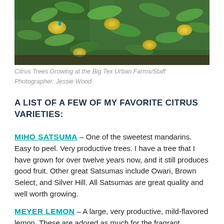[Figure (photo): Citrus trees with yellow lemons growing on branches with green leaves at Big Tex Urban Farms]
Citrus Trees Growing at the Big Tex Urban Farms/Staff Photographer: Jessie Wood
A LIST OF A FEW OF MY FAVORITE CITRUS VARIETIES:
MIHO SATSUMA – One of the sweetest mandarins. Easy to peel. Very productive trees. I have a tree that I have grown for over twelve years now, and it still produces good fruit. Other great Satsumas include Owari, Brown Select, and Silver Hill. All Satsumas are great quality and well worth growing.
MEYER LEMON – A large, very productive, mild-flavored lemon. These are adored as much for the fragrant blossoms as they are